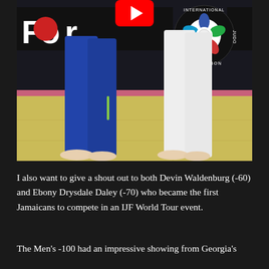[Figure (screenshot): Video thumbnail showing two judo competitors on a mat — one in blue gi, one in white gi — standing on a yellow competition mat with pink border. A dark banner with 'FOR' text and red circle visible on the left. IJF (International Judo Federation) logo visible on the right side of the banner. A YouTube play button icon is overlaid at the top center of the image.]
I also want to give a shout out to both Devin Waldenburg (-60) and Ebony Drysdale Daley (-70) who became the first Jamaicans to compete in an IJF World Tour event.
The Men's -100 had an impressive showing from Georgia's